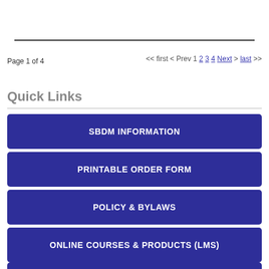Page 1 of 4
<< first < Prev 1 2 3 4 Next > last >>
Quick Links
SBDM INFORMATION
PRINTABLE ORDER FORM
POLICY & BYLAWS
ONLINE COURSES & PRODUCTS (LMS)